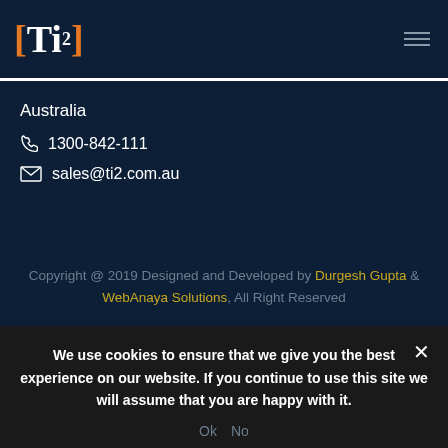[Figure (logo): Ti2 logo with orange brackets and white text on dark navy background]
Australia
☎ 1300-842-111
✉ sales@ti2.com.au
Copyright @ 2019 Designed and Developed by Durgesh Gupta & WebAnaya Solutions, All Right Reserved
We use cookies to ensure that we give you the best experience on our website. If you continue to use this site we will assume that you are happy with it.
Ok  No